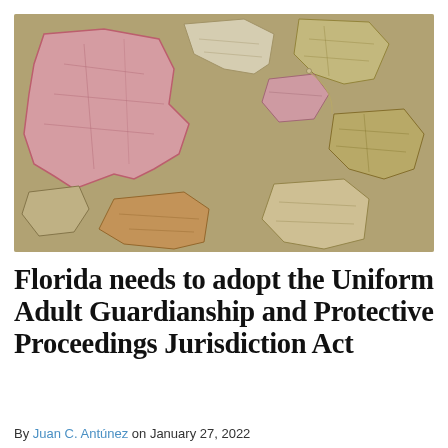[Figure (photo): Overhead photo of wooden US state-shaped puzzle pieces covered with vintage map prints, in shades of pink, cream, yellow, and orange, scattered and overlapping on a map background.]
Florida needs to adopt the Uniform Adult Guardianship and Protective Proceedings Jurisdiction Act
By Juan C. Antúnez on January 27, 2022